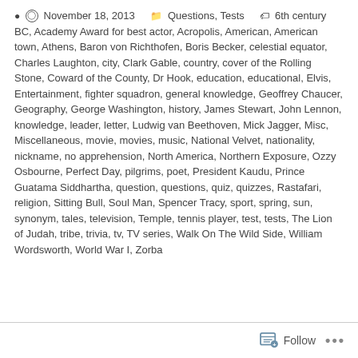November 18, 2013 | Questions, Tests | 6th century BC, Academy Award for best actor, Acropolis, American, American town, Athens, Baron von Richthofen, Boris Becker, celestial equator, Charles Laughton, city, Clark Gable, country, cover of the Rolling Stone, Coward of the County, Dr Hook, education, educational, Elvis, Entertainment, fighter squadron, general knowledge, Geoffrey Chaucer, Geography, George Washington, history, James Stewart, John Lennon, knowledge, leader, letter, Ludwig van Beethoven, Mick Jagger, Misc, Miscellaneous, movie, movies, music, National Velvet, nationality, nickname, no apprehension, North America, Northern Exposure, Ozzy Osbourne, Perfect Day, pilgrims, poet, President Kaudu, Prince Guatama Siddhartha, question, questions, quiz, quizzes, Rastafari, religion, Sitting Bull, Soul Man, Spencer Tracy, sport, spring, sun, synonym, tales, television, Temple, tennis player, test, tests, The Lion of Judah, tribe, trivia, tv, TV series, Walk On The Wild Side, William Wordsworth, World War I, Zorba
Follow ...